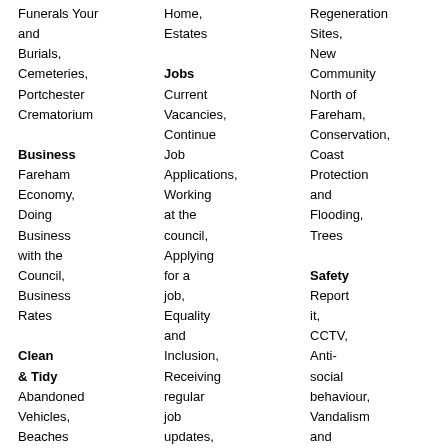Funerals and Burials, Cemeteries, Portchester Crematorium
Business Fareham Economy, Doing Business with the Council, Business Rates
Clean & Tidy Abandoned Vehicles, Beaches & Foreshore, Enforcement, Fly Tipping, Litter &
Jobs Current Vacancies, Continue Job Applications, Working at the council, Applying for a job, Equality and Inclusion, Receiving regular job updates, Apprenticeships, Fareham Borough Council
Regeneration Sites, New Community North of Fareham, Conservation, Coast Protection and Flooding, Trees
Safety Report it, CCTV, Anti-social behaviour, Vandalism and criminal damage, Keeping safe, Domestic violence,